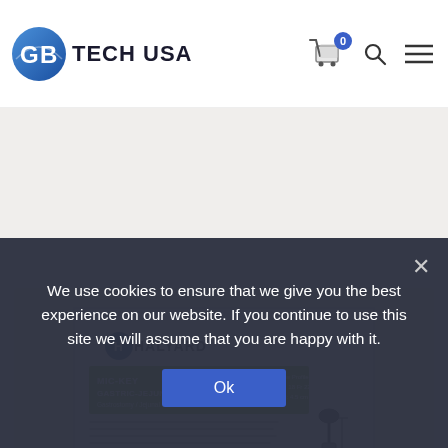GB TECH USA
[Figure (photo): Product photo of Halyard MIC-KEY Gastric-Jejunal Feeding Tube Kit instruction sheet, showing the Halyard logo, green product label reading 'MIC-KEY GASTRIC-JEJUNAL FEEDING TUBE KIT', multilingual instructions, and a diagram of the tube with measurements.]
We use cookies to ensure that we give you the best experience on our website. If you continue to use this site we will assume that you are happy with it.